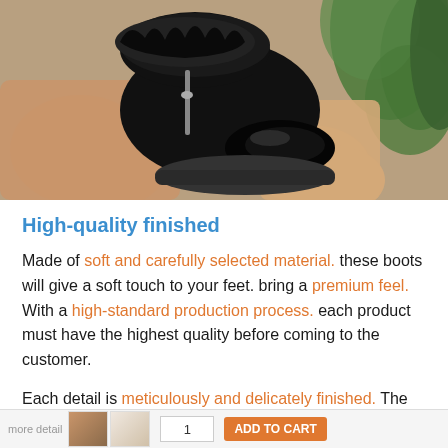[Figure (photo): Hands holding a black fur-lined ankle boot with patent leather toe cap and zipper, against a green plant background. Person wearing beige/tan clothing.]
High-quality finished
Made of soft and carefully selected material. these boots will give a soft touch to your feet. bring a premium feel. With a high-standard production process. each product must have the highest quality before coming to the customer.
Each detail is meticulously and delicately finished. The craft sturdy seam. tight stitches will surely make the boots much
[Figure (screenshot): Bottom navigation bar with product thumbnail images, quantity selector, and ADD TO CART button]